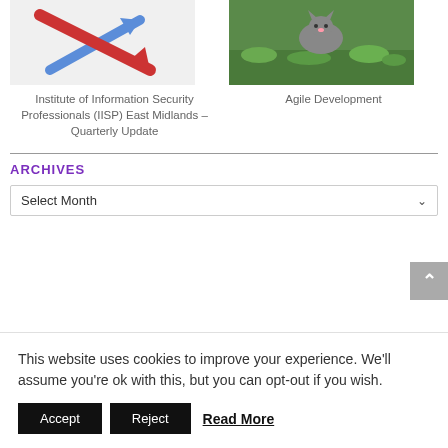[Figure (photo): Photo of red and blue arrow graphic pointing downward]
[Figure (photo): Photo of a cat sitting in green grass]
Institute of Information Security Professionals (IISP) East Midlands – Quarterly Update
Agile Development
ARCHIVES
Select Month
This website uses cookies to improve your experience. We'll assume you're ok with this, but you can opt-out if you wish.
Accept
Reject
Read More